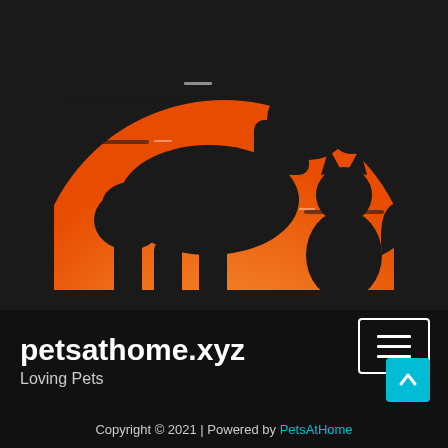[Figure (logo): Circular sunset logo with silhouettes of a large dog and a cat in front of an orange gradient sun/semicircle, on a dark background]
petsathome.xyz
Loving Pets
Copyright © 2021 | Powered by PetsAtHome